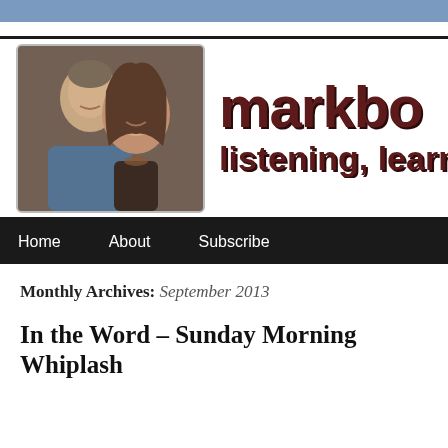[Figure (photo): Website header with photo of a man and woman smiling, alongside the blog brand name 'markbo...' and tagline 'listening, learni...']
Home   About   Subscribe
Monthly Archives: September 2013
In the Word – Sunday Morning Whiplash